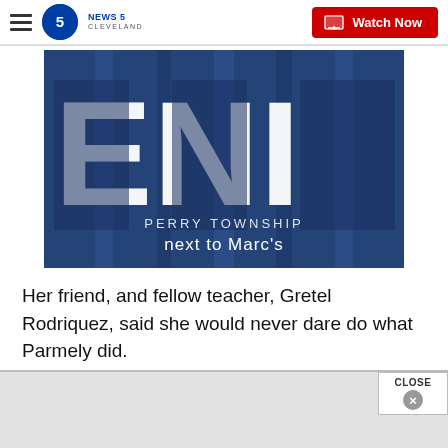NEWS 5 CLEVELAND — Watch Now
[Figure (screenshot): Advertisement or promotional image showing large white letters 'ENI' on a dark blue background with denim fabric texture. Text below reads 'PERRY TOWNSHIP next to Marc's']
Her friend, and fellow teacher, Gretel Rodriquez, said she would never dare do what Parmely did.